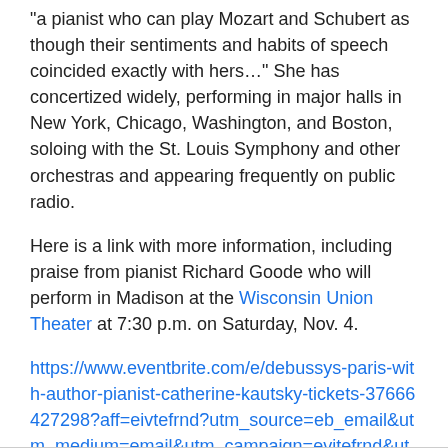“a pianist who can play Mozart and Schubert as though their sentiments and habits of speech coincided exactly with hers…” She has concertized widely, performing in major halls in New York, Chicago, Washington, and Boston, soloing with the St. Louis Symphony and other orchestras and appearing frequently on public radio.
Here is a link with more information, including praise from pianist Richard Goode who will perform in Madison at the Wisconsin Union Theater at 7:30 p.m. on Saturday, Nov. 4.
https://www.eventbrite.com/e/debussys-paris-with-author-pianist-catherine-kautsky-tickets-37666427298?aff=eivtefrnd?utm_source=eb_email&utm_medium=email&utm_campaign=evitefrnd&utm_term=eventimage